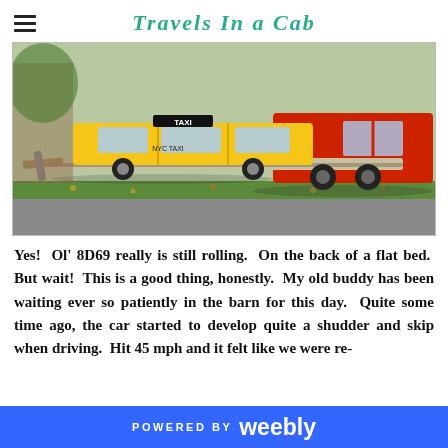Travels In a Cab
[Figure (photo): A yellow taxi cab (labeled TAXI, medallion 8D69) loaded on the back of a red flatbed tow truck, parked on a residential street with grass and fallen leaves visible.]
Yes! Ol' 8D69 really is still rolling. On the back of a flat bed. But wait! This is a good thing, honestly. My old buddy has been waiting ever so patiently in the barn for this day. Quite some time ago, the car started to develop quite a shudder and skip when driving. Hit 45 mph and it felt like we were re-
POWERED BY weebly